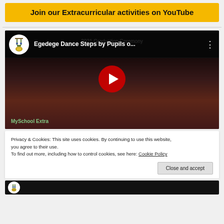Join our Extracurricular activities on YouTube
[Figure (screenshot): YouTube video thumbnail showing 'Egedege Dance Steps by Pupils o...' with a school channel logo, play button, and dancing crowd in background. Text 'MySchool Extra' visible at bottom left. Background text '2021 Graduation Ceremony' faintly visible.]
Privacy & Cookies: This site uses cookies. By continuing to use this website, you agree to their use.
To find out more, including how to control cookies, see here: Cookie Policy
Close and accept